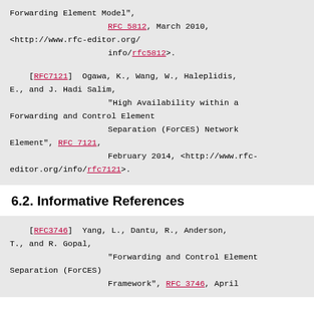Forwarding Element Model", RFC 5812, March 2010, <http://www.rfc-editor.org/info/rfc5812>.
[RFC7121] Ogawa, K., Wang, W., Haleplidis, E., and J. Hadi Salim, "High Availability within a Forwarding and Control Element Separation (ForCES) Network Element", RFC 7121, February 2014, <http://www.rfc-editor.org/info/rfc7121>.
6.2. Informative References
[RFC3746] Yang, L., Dantu, R., Anderson, T., and R. Gopal, "Forwarding and Control Element Separation (ForCES) Framework", RFC 3746, April